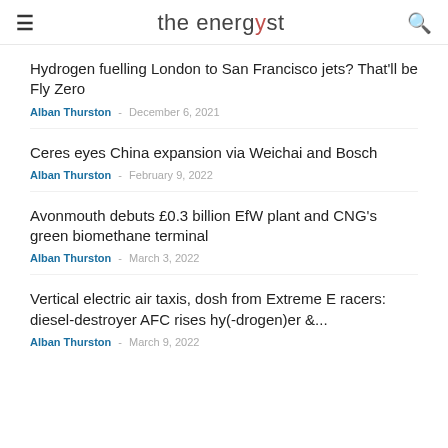the energyst
Hydrogen fuelling London to San Francisco jets? That'll be Fly Zero — Alban Thurston — December 6, 2021
Ceres eyes China expansion via Weichai and Bosch — Alban Thurston — February 9, 2022
Avonmouth debuts £0.3 billion EfW plant and CNG's green biomethane terminal — Alban Thurston — March 3, 2022
Vertical electric air taxis, dosh from Extreme E racers: diesel-destroyer AFC rises hy(-drogen)er &... — Alban Thurston — March 9, 2022